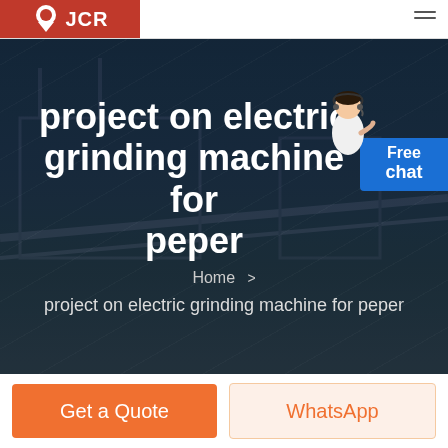JCR
project on electric grinding machine for peper
Home > project on electric grinding machine for peper
[Figure (illustration): Customer support agent illustration next to Free chat button widget]
Get a Quote
WhatsApp